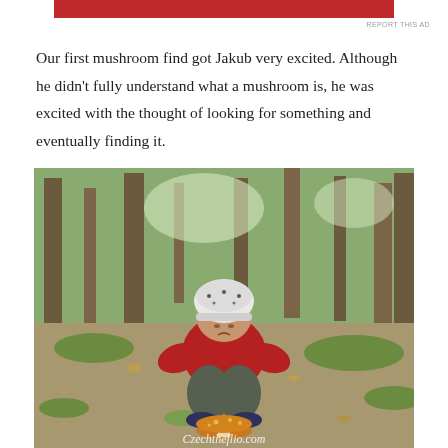[Figure (other): Red banner advertisement bar at top of page]
REPORT THIS AD
Our first mushroom find got Jakub very excited.  Although he didn't fully understand what a mushroom is, he was excited with the thought of looking for something and eventually finding it.
[Figure (photo): A young child in a red jacket and white patterned winter hat crouching in a forest, examining a mushroom on the ground. The forest floor has moss, leaves, and dirt. Trees are visible in the background.]
Czechtheflio.com